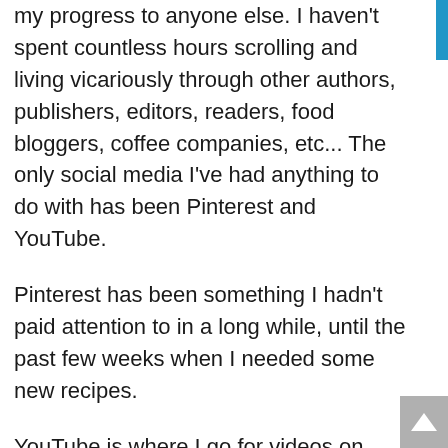my progress to anyone else. I haven't spent countless hours scrolling and living vicariously through other authors, publishers, editors, readers, food bloggers, coffee companies, etc... The only social media I've had anything to do with has been Pinterest and YouTube.
Pinterest has been something I hadn't paid attention to in a long while, until the past few weeks when I needed some new recipes.
YouTube is where I go for videos on writing, food, and exercise. And all three of those things changed for me in July.
I wrote a lot. Not by anyone's standards but mine, but still, I wrote a lot. I didn't meet my Camp NaNoWriMo goal by any stretch, but I did write. I also added a lot of new story ideas. I mean... Y'all just have no idea. My brain is constantly coming up